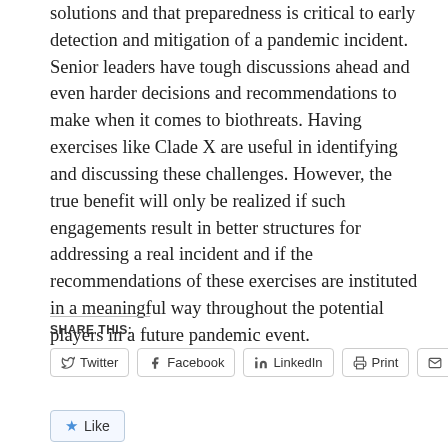solutions and that preparedness is critical to early detection and mitigation of a pandemic incident. Senior leaders have tough discussions ahead and even harder decisions and recommendations to make when it comes to biothreats. Having exercises like Clade X are useful in identifying and discussing these challenges. However, the true benefit will only be realized if such engagements result in better structures for addressing a real incident and if the recommendations of these exercises are instituted in a meaningful way throughout the potential players in a future pandemic event.
SHARE THIS:
Twitter | Facebook | LinkedIn | Print | Email
Like